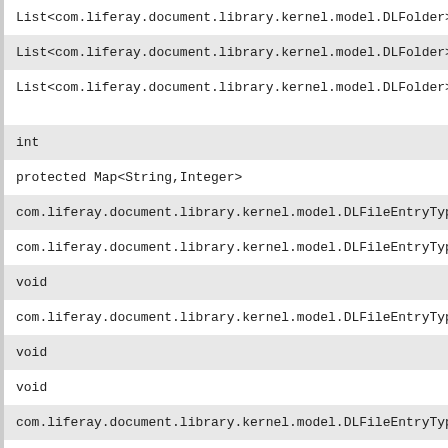| List<com.liferay.document.library.kernel.model.DLFolder> |
| List<com.liferay.document.library.kernel.model.DLFolder> |
| List<com.liferay.document.library.kernel.model.DLFolder> |
| int |
| protected Map<String,Integer> |
| com.liferay.document.library.kernel.model.DLFileEntryType |
| com.liferay.document.library.kernel.model.DLFileEntryType |
| void |
| com.liferay.document.library.kernel.model.DLFileEntryType |
| void |
| void |
| com.liferay.document.library.kernel.model.DLFileEntryType |